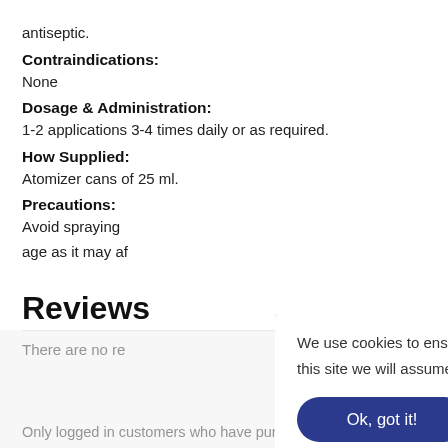antiseptic.
Contraindications:
None
Dosage & Administration:
1-2 applications 3-4 times daily or as required.
How Supplied:
Atomizer cans of 25 ml.
Precautions:
Avoid spraying
age as it may af
Reviews
There are no re
Only logged in customers who have purchased this product
We use cookies to ensure that we give you the best experience on our website. If you continue to use this site we will assume that you are happy with it.
Ok, got it!